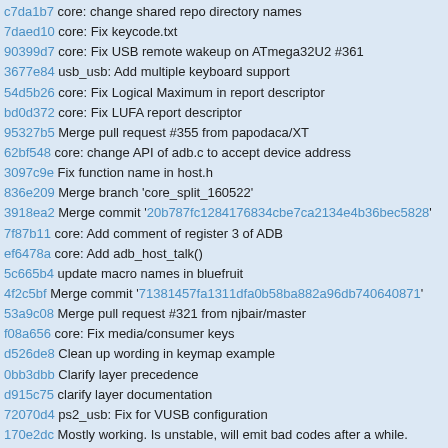c7da1b7 core: change shared repo directory names
7daed10 core: Fix keycode.txt
90399d7 core: Fix USB remote wakeup on ATmega32U2 #361
3677e84 usb_usb: Add multiple keyboard support
54d5b26 core: Fix Logical Maximum in report descriptor
bd0d372 core: Fix LUFA report descriptor
95327b5 Merge pull request #355 from papodaca/XT
62bf548 core: change API of adb.c to accept device address
3097c9e Fix function name in host.h
836e209 Merge branch 'core_split_160522'
3918ea2 Merge commit '20b787fc1284176834cbe7ca2134e4b36bec5828'
7f87b11 core: Add comment of register 3 of ADB
ef6478a core: Add adb_host_talk()
5c665b4 update macro names in bluefruit
4f2c5bf Merge commit '71381457fa1311dfa0b58ba882a96db740640871'
53a9c08 Merge pull request #321 from njbair/master
f08a656 core: Fix media/consumer keys
d526de8 Clean up wording in keymap example
0bb3dbb Clarify layer precedence
d915c75 clarify layer documentation
72070d4 ps2_usb: Fix for VUSB configuration
170e2dc Mostly working. Is unstable, will emit bad codes after a while.
c8e45b5 core: Actionmap support
aabaa24 Codes appear to be detected correctly, the break codes are broken